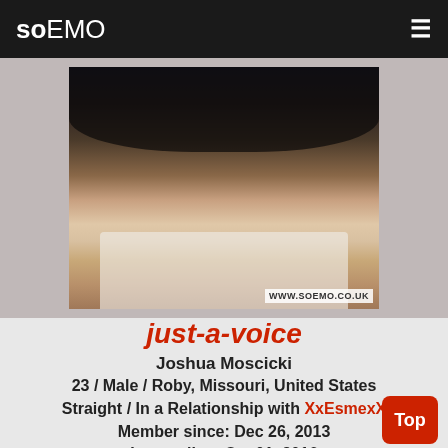soEMO
[Figure (photo): Profile photo of a young man with dark emo-style hair wearing a white graphic t-shirt, with a watermark reading www.soemo.co.uk]
just-a-voice
Joshua Moscicki
23 / Male / Roby, Missouri, United States
Straight / In a Relationship with XxEsmexX
Member since: Dec 26, 2013
Last online: Oct 01, 2016
Current rating: No rating yet/10 (0 votes